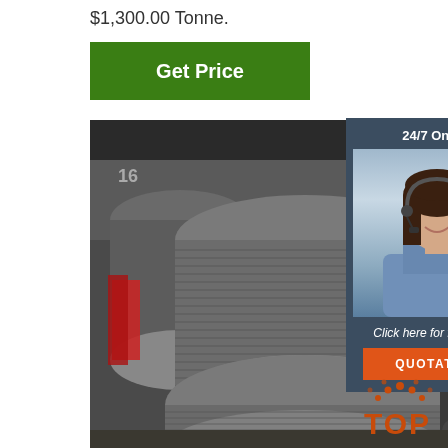$1,300.00 Tonne.
Get Price
[Figure (photo): Large spools/coils of steel wire rod stacked in an industrial warehouse, shown in grey/silver tones with red packaging visible.]
[Figure (infographic): 24/7 Online chat widget overlay showing a female customer service agent wearing a headset, with text 'Click here for free chat!' and an orange QUOTATION button.]
[Figure (logo): TOP badge logo with orange dots arranged in an arc above the word TOP in orange bold letters.]